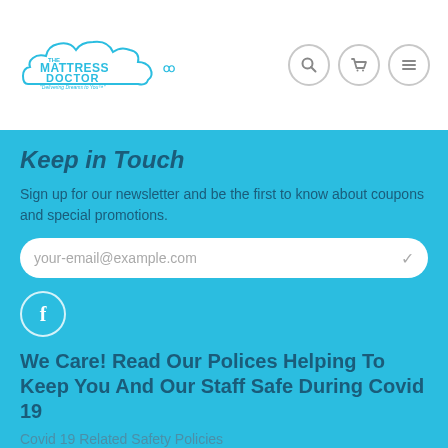[Figure (logo): The Mattress Doctor logo - cloud shape with text 'The Mattress Doctor' and tagline 'Delivering Dreams to You']
[Figure (infographic): Three circular navigation icons: search (magnifying glass), cart (shopping cart), and menu (hamburger lines)]
Keep in Touch
Sign up for our newsletter and be the first to know about coupons and special promotions.
[Figure (infographic): Email input field with placeholder text 'your-email@example.com' and a checkmark icon]
[Figure (infographic): Facebook icon in a circle]
We Care! Read Our Polices Helping To Keep You And Our Staff Safe During Covid 19
Covid 19 Related Safety Policies
More